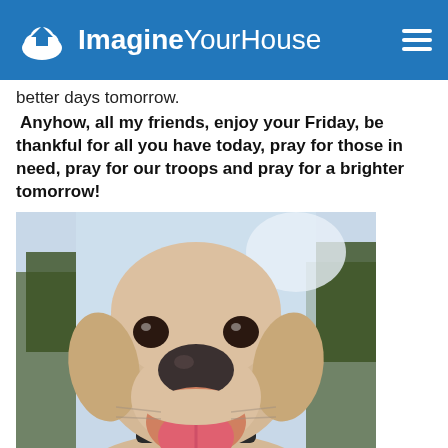ImagineYourHouse
better days tomorrow.
Anyhow, all my friends, enjoy your Friday, be thankful for all you have today, pray for those in need, pray for our troops and pray for a brighter tomorrow!
[Figure (photo): Close-up photo of a yellow Labrador Retriever dog facing the camera with its mouth open and tongue out, appearing to smile. The dog is wearing a dark collar. The background shows trees and outdoor scenery.]